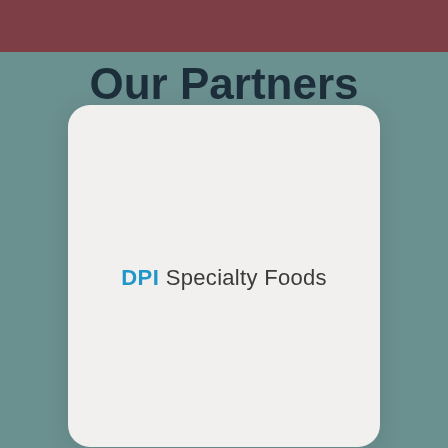Our Partners
[Figure (logo): DPI Specialty Foods logo — 'DPI' in bold blue text followed by 'Specialty Foods' in regular dark gray text]